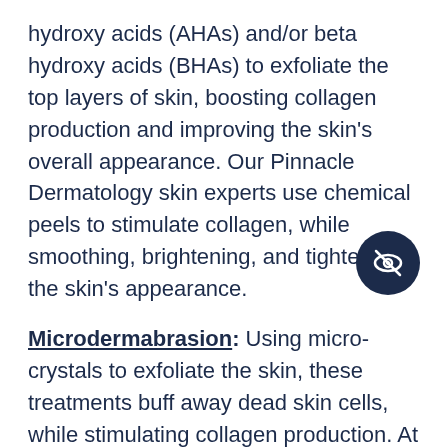hydroxy acids (AHAs) and/or beta hydroxy acids (BHAs) to exfoliate the top layers of skin, boosting collagen production and improving the skin's overall appearance. Our Pinnacle Dermatology skin experts use chemical peels to stimulate collagen, while smoothing, brightening, and tightening the skin's appearance.
[Figure (illustration): Dark navy circle with a crossed-out eye icon (privacy/hidden eye symbol)]
Microdermabrasion: Using micro-crystals to exfoliate the skin, these treatments buff away dead skin cells, while stimulating collagen production. At Skin Speaks, our microdermabrasion treatments help to restore natural radiance to your skin and